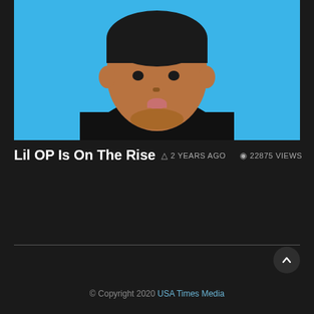[Figure (illustration): Cartoon/animated illustration of a person with brown skin, wearing a black shirt, on a bright blue background. Only the head, neck and upper shoulders are visible.]
Lil OP Is On The Rise
2 YEARS AGO   22875 VIEWS
© Copyright 2020 USA Times Media